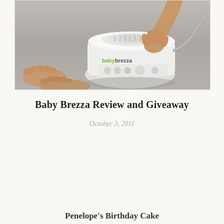[Figure (photo): A baby's bare feet on the left and a baby's hand reaching toward a white Baby Brezza food maker device in the center-right, on a gray surface]
Baby Brezza Review and Giveaway
October 3, 2011
Penelope's Birthday Cake